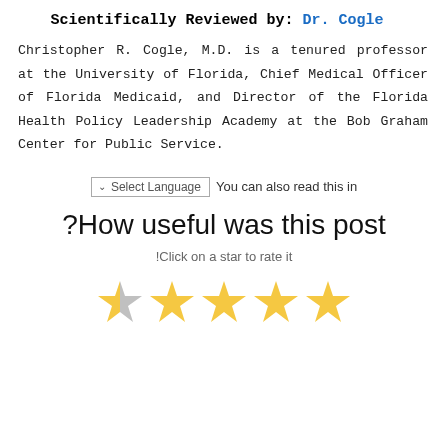Scientifically Reviewed by: Dr. Cogle
Christopher R. Cogle, M.D. is a tenured professor at the University of Florida, Chief Medical Officer of Florida Medicaid, and Director of the Florida Health Policy Leadership Academy at the Bob Graham Center for Public Service.
You can also read this in [Select Language]
How useful was this post?
Click on a star to rate it!
[Figure (other): Five-star rating widget showing the first star as half-filled (grey/gold) and the remaining four stars fully filled in gold/yellow.]